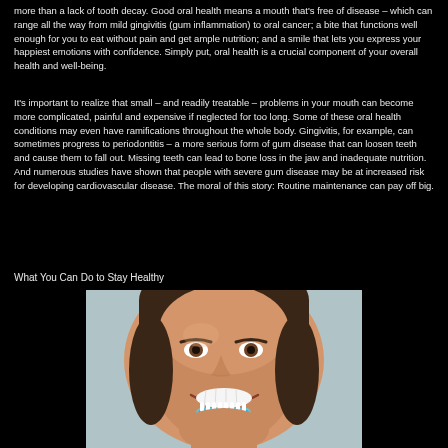more than a lack of tooth decay. Good oral health means a mouth that's free of disease – which can range all the way from mild gingivitis (gum inflammation) to oral cancer; a bite that functions well enough for you to eat without pain and get ample nutrition; and a smile that lets you express your happiest emotions with confidence. Simply put, oral health is a crucial component of your overall health and well-being.
It's important to realize that small – and readily treatable – problems in your mouth can become more complicated, painful and expensive if neglected for too long. Some of these oral health conditions may even have ramifications throughout the whole body. Gingivitis, for example, can sometimes progress to periodontitis – a more serious form of gum disease that can loosen teeth and cause them to fall out. Missing teeth can lead to bone loss in the jaw and inadequate nutrition. And numerous studies have shown that people with severe gum disease may be at increased risk for developing cardiovascular disease. The moral of this story: Routine maintenance can pay off big.
What You Can Do to Stay Healthy
[Figure (photo): A smiling woman brushing her teeth with a blue toothbrush, close-up portrait against a light background]